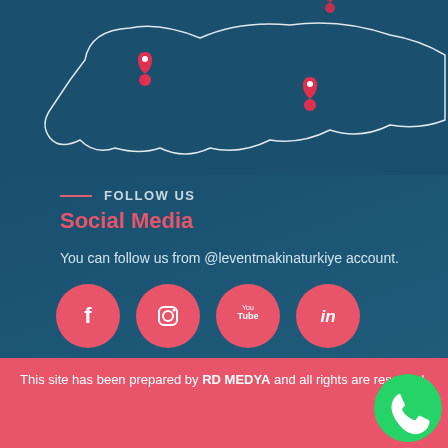[Figure (map): Map of Turkey with red location pin markers at various cities]
FOLLOW US
Social Media
You can follow us from @leventmakinaturkiye account.
[Figure (infographic): Social media icons: Facebook, Instagram, YouTube, LinkedIn — pink circles]
This site has been prepared by RD MEDYA and all rights are reserved.